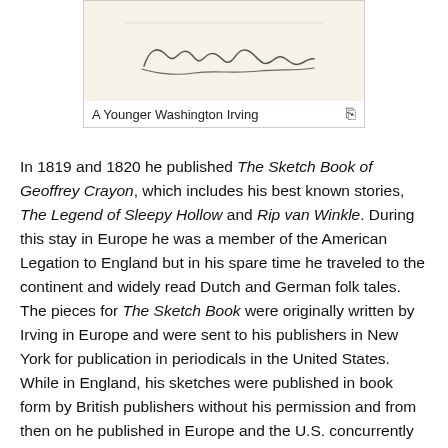[Figure (illustration): A scanned image of Washington Irving's signature on a cream/beige card background.]
A Younger Washington Irving
In 1819 and 1820 he published The Sketch Book of Geoffrey Crayon, which includes his best known stories, The Legend of Sleepy Hollow and Rip van Winkle. During this stay in Europe he was a member of the American Legation to England but in his spare time he traveled to the continent and widely read Dutch and German folk tales. The pieces for The Sketch Book were originally written by Irving in Europe and were sent to his publishers in New York for publication in periodicals in the United States. While in England, his sketches were published in book form by British publishers without his permission and from then on he published in Europe and the U.S. concurrently to protect his copyright.